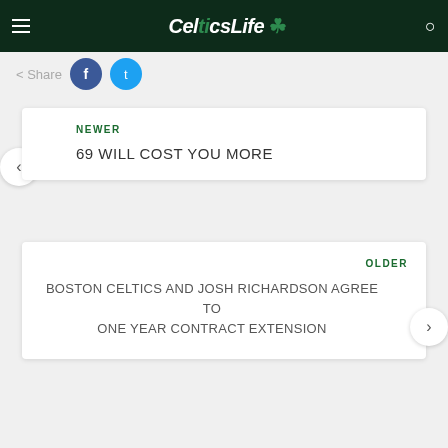CelticsLife
Share
NEWER
69 WILL COST YOU MORE
OLDER
BOSTON CELTICS AND JOSH RICHARDSON AGREE TO ONE YEAR CONTRACT EXTENSION